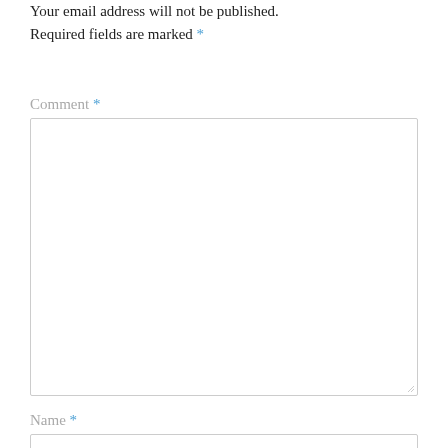Your email address will not be published. Required fields are marked *
Comment *
[Figure (other): Large comment text area input box with resize handle]
Name *
[Figure (other): Name text input box]